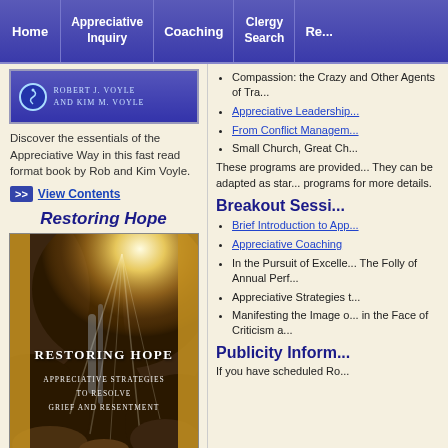Home | Appreciative Inquiry | Coaching | Clergy Search | Re...
[Figure (illustration): Book header image showing authors Robert J. Voyle and Kim M. Voyle with a spiral logo on blue background]
Discover the essentials of the Appreciative Way in this fast read format book by Rob and Kim Voyle.
>> View Contents
Restoring Hope
[Figure (photo): Book cover for Restoring Hope: Appreciative Strategies To Resolve Grief and Resentment, showing cave with light rays]
Compassion: the Crazy and Other Agents of Tra...
Appreciative Leadership...
From Conflict Managem...
Small Church, Great Ch...
These programs are provided... They can be adapted as star... programs for more details.
Breakout Sessi...
Brief Introduction to App...
Appreciative Coaching
In the Pursuit of Excelle... The Folly of Annual Perf...
Appreciative Strategies t...
Manifesting the Image o... in the Face of Criticism a...
Publicity Inform...
If you have scheduled Ro...